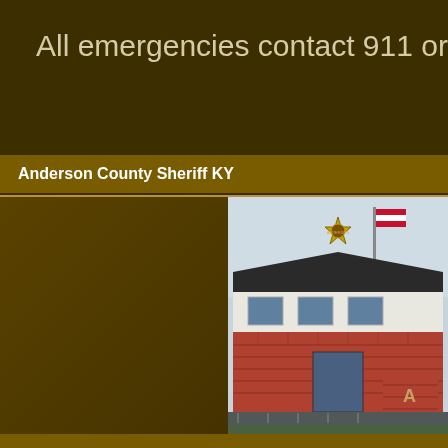All emergencies contact 911 or call the d
Anderson County Sheriff KY
[Figure (photo): Photo of the Anderson County Sheriff KY building exterior, showing a brick building with a dark roof, flagpole, and a sheriff star badge/logo visible at the top. Parking lot in foreground.]